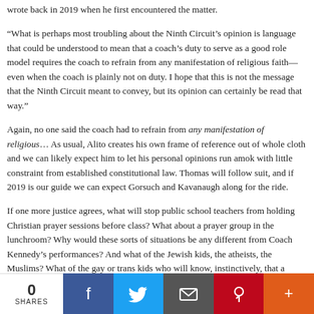wrote back in 2019 when he first encountered the matter.
“What is perhaps most troubling about the Ninth Circuit’s opinion is language that could be understood to mean that a coach’s duty to serve as a good role model requires the coach to refrain from any manifestation of religious faith—even when the coach is plainly not on duty. I hope that this is not the message that the Ninth Circuit meant to convey, but its opinion can certainly be read that way.”
Again, no one said the coach had to refrain from any manifestation of religious… As usual, Alito creates his own frame of reference out of whole cloth and we can likely expect him to let his personal opinions run amok with little constraint from established constitutional law. Thomas will follow suit, and if 2019 is our guide we can expect Gorsuch and Kavanaugh along for the ride.
If one more justice agrees, what will stop public school teachers from holding Christian prayer sessions before class? What about a prayer group in the lunchroom? Why would these sorts of situations be any different from Coach Kennedy’s performances? And what of the Jewish kids, the atheists, the Muslims? What of the gay or trans kids who will know, instinctively, that a fundamentalist teacher isn’t their friend?
By the way, Justice Breyer doesn’t retire until this summer, so Justice Jackson will miss this one. I’m also reminded of the cartoon that shows a football player on…